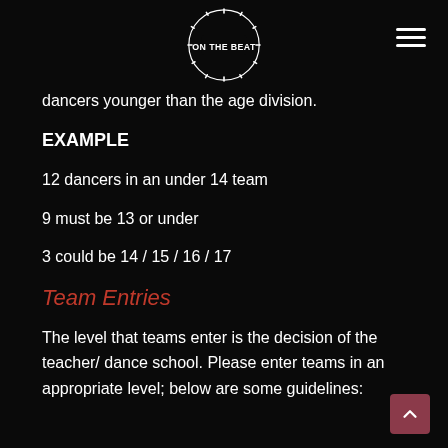ON THE BEAT
dancers younger than the age division.
EXAMPLE
12 dancers in an under 14 team
9 must be 13 or under
3 could be 14 / 15 / 16 / 17
Team Entries
The level that teams enter is the decision of the teacher/ dance school. Please enter teams in an appropriate level; below are some guidelines: